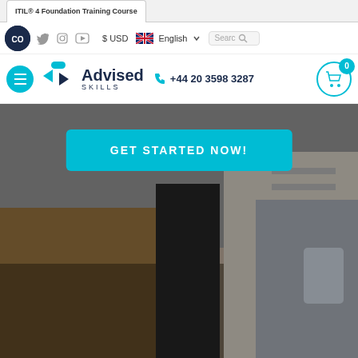ITIL® 4 Foundation Training Course
[Figure (logo): CO circular logo in dark navy blue]
[Figure (screenshot): Social media icons: Twitter, Instagram, YouTube]
$ USD
[Figure (illustration): UK flag icon]
English
Search
[Figure (logo): Advised Skills logo with chevron arrows and brand name]
+44 20 3598 3287
GET STARTED NOW!
[Figure (photo): Two people sitting on a couch, one showing a tablet to the other, in a living room setting. Hero image for ITIL 4 Foundation Training Course page.]